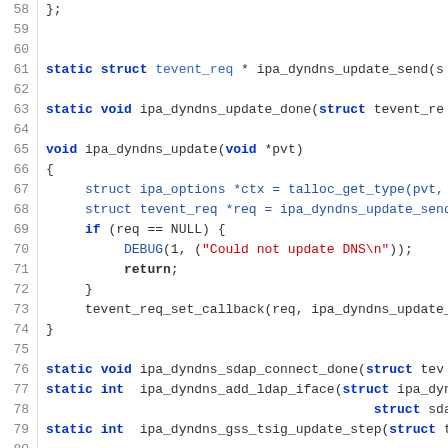Source code listing lines 58-80, C code for ipa_dyndns functions